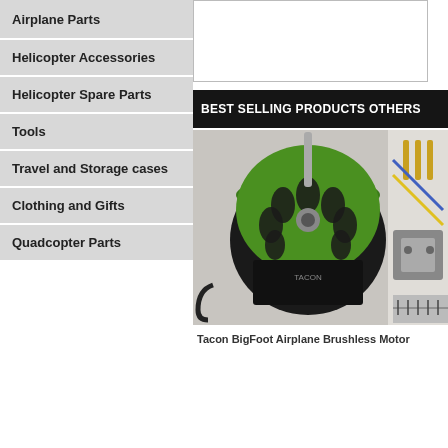Airplane Parts
Helicopter Accessories
Helicopter Spare Parts
Tools
Travel and Storage cases
Clothing and Gifts
Quadcopter Parts
[Figure (photo): TechOne branded panel with logo, circular swoosh icon, and orange FunWing aircraft model on dark metallic background]
TechOne
[Figure (photo): Partial view of another brand panel at the bottom, dark background with yellow/gold wing logo]
[Figure (photo): White product display box (partially visible at top right)]
BEST SELLING PRODUCTS OTHERS
[Figure (photo): Tacon BigFoot airplane brushless motor in green and black, alongside other RC airplane parts including gold connectors, mesh and metal bracket]
Tacon BigFoot Airplane Brushless Motor